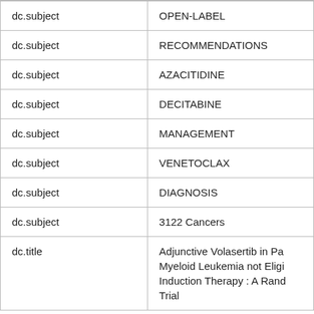| dc.subject | OPEN-LABEL |
| dc.subject | RECOMMENDATIONS |
| dc.subject | AZACITIDINE |
| dc.subject | DECITABINE |
| dc.subject | MANAGEMENT |
| dc.subject | VENETOCLAX |
| dc.subject | DIAGNOSIS |
| dc.subject | 3122 Cancers |
| dc.title | Adjunctive Volasertib in Pa... Myeloid Leukemia not Eligi... Induction Therapy : A Rand... Trial |